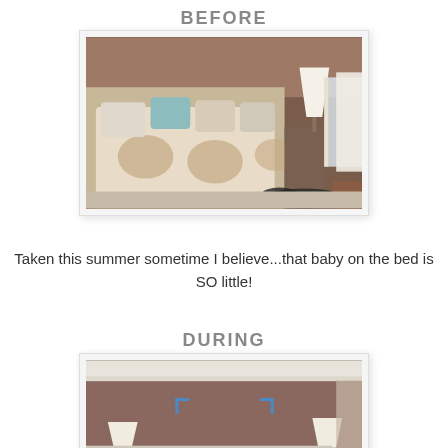BEFORE
[Figure (photo): Bedroom before photo showing a bed with floral comforter, blue pillows, a lamp, curtained window, and a dog lying on the floor near a chair.]
Taken this summer sometime I believe...that baby on the bed is SO little!
DURING
[Figure (photo): Bedroom during renovation photo showing empty room with mauve/brown walls, crown molding, blue bracket outlines on the wall, two table lamps, and curtains on the right.]